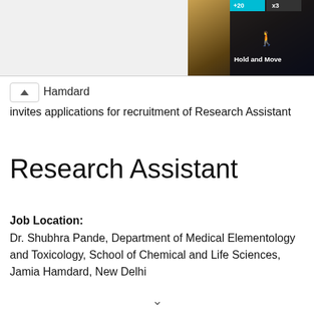[Figure (screenshot): Top banner area showing a dark landscape/outdoor image on the right with 'Hold and Move' label and blue/dark UI tabs at top right. Left portion is light grey.]
Hamdard invites applications for recruitment of Research Assistant
Research Assistant
Job Location:
Dr. Shubhra Pande, Department of Medical Elementology and Toxicology, School of Chemical and Life Sciences, Jamia Hamdard, New Delhi